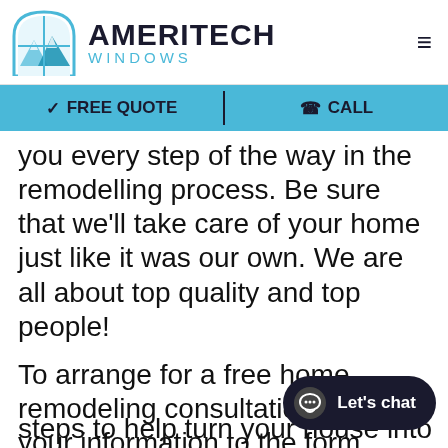[Figure (logo): Ameritech Windows logo with mountain/window icon, brand name AMERITECH in bold dark text and WINDOWS in light blue letters below]
✓ FREE QUOTE   ☎ CALL
you every step of the way in the remodelling process. Be sure that we'll take care of your home just like it was our own. We are all about top quality and top people!
To arrange for a free home remodeling consultation, add your information to the form below. We will quickly be able to identify the steps to help turn your house into a
[Figure (other): Let's chat button - dark rounded pill button with chat icon and text 'Let's chat']